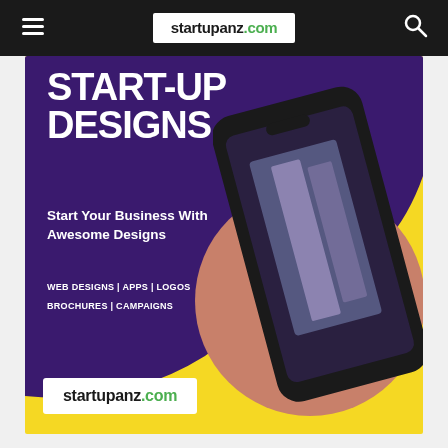startupanz.com
[Figure (illustration): Start-up Designs advertisement banner with purple blob shape on yellow background, smartphone image, and text: START-UP DESIGNS / Start Your Business With Awesome Designs / WEB DESIGNS | APPS | LOGOS / BROCHURES | CAMPAIGNS]
START-UP DESIGNS
Start Your Business With Awesome Designs
WEB DESIGNS | APPS | LOGOS
BROCHURES | CAMPAIGNS
[Figure (logo): startupanz.com logo in white box at bottom left of banner]